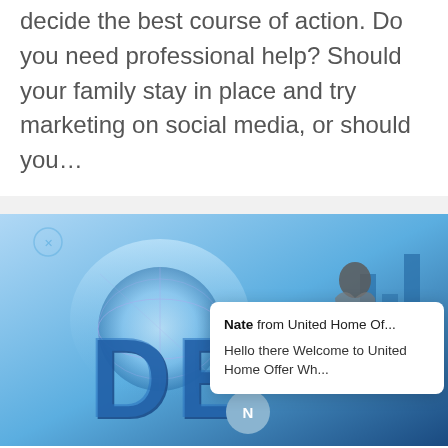decide the best course of action. Do you need professional help? Should your family stay in place and try marketing on social media, or should you…
[Figure (photo): A business/finance themed image showing large blue 3D letters 'DE' with a globe and financial chart in the background, and a man in a suit in a contemplative pose. A chat popup overlay shows 'Nate from United Home Of...' with message 'Hello there Welcome to United Home Offer Wh...' and an N avatar icon.]
HOW TO GET OUT OF DEBT FAST IN PHOENIX